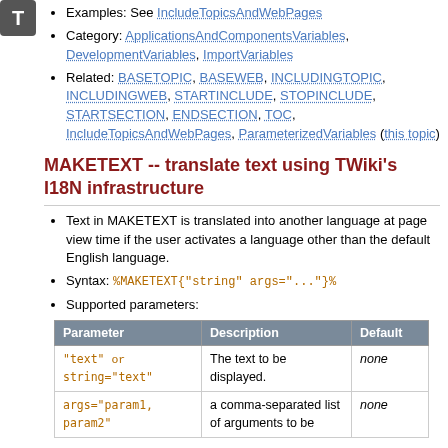Examples: See IncludeTopicsAndWebPages
Category: ApplicationsAndComponentsVariables, DevelopmentVariables, ImportVariables
Related: BASETOPIC, BASEWEB, INCLUDINGTOPIC, INCLUDINGWEB, STARTINCLUDE, STOPINCLUDE, STARTSECTION, ENDSECTION, TOC, IncludeTopicsAndWebPages, ParameterizedVariables (this topic)
MAKETEXT -- translate text using TWiki's I18N infrastructure
Text in MAKETEXT is translated into another language at page view time if the user activates a language other than the default English language.
Syntax: %MAKETEXT{"string" args="..."}%
Supported parameters:
| Parameter | Description | Default |
| --- | --- | --- |
| "text" or string="text" | The text to be displayed. | none |
| args="param1, param2" | a comma-separated list of arguments to be | none |